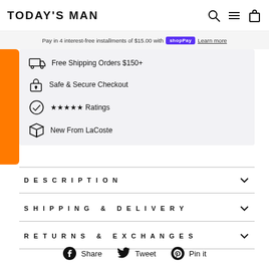TODAY'S MAN
Pay in 4 interest-free installments of $15.00 with Shop Pay Learn more
Free Shipping Orders $150+
Safe & Secure Checkout
★★★★★ Ratings
New From LaCoste
DESCRIPTION
SHIPPING & DELIVERY
RETURNS & EXCHANGES
Share  Tweet  Pin it